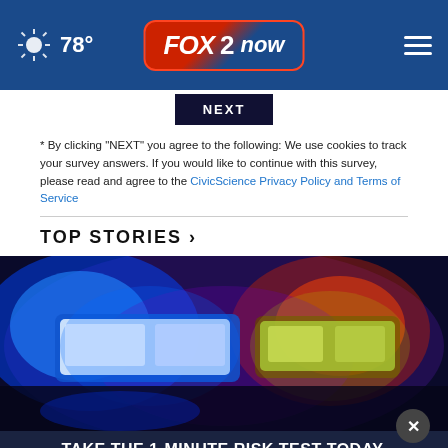FOX 2 now — 78°
[Figure (screenshot): NEXT button (dark button, partially visible)]
* By clicking "NEXT" you agree to the following: We use cookies to track your survey answers. If you would like to continue with this survey, please read and agree to the CivicScience Privacy Policy and Terms of Service
TOP STORIES ›
[Figure (photo): Police car emergency lights (blue and red/yellow flashing lights) against a dark blurred background]
[Figure (infographic): Advertisement banner: TAKE THE 1-MINUTE RISK TEST TODAY. DolHavePrediabetes.org — with ad council, AMA, and CDC logos]